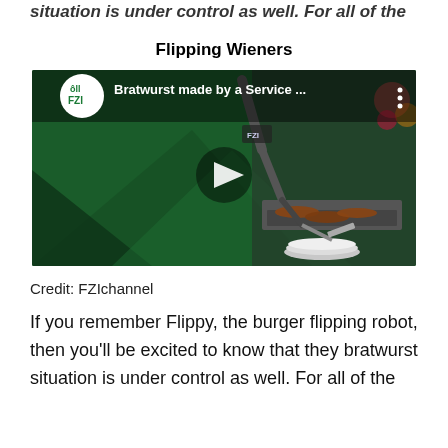situation is under control as well. For all of the
Flipping Wieners
[Figure (screenshot): YouTube video thumbnail showing a service robot arm flipping bratwurst on a grill with the FZI logo and title 'Bratwurst made by a Service ...' with a play button overlay]
Credit: FZIchannel
If you remember Flippy, the burger flipping robot, then you'll be excited to know that they bratwurst situation is under control as well. For all of the